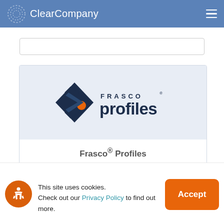ClearCompany
[Figure (logo): Frasco Profiles logo with diamond/chevron icon and text 'FRASCO profiles']
Frasco® Profiles
Frasco® Profiles is a global employment
This site uses cookies. Check out our Privacy Policy to find out more.